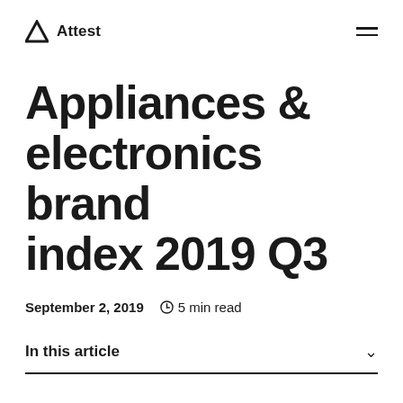Attest
Appliances & electronics brand index 2019 Q3
September 2, 2019   🕐 5 min read
In this article